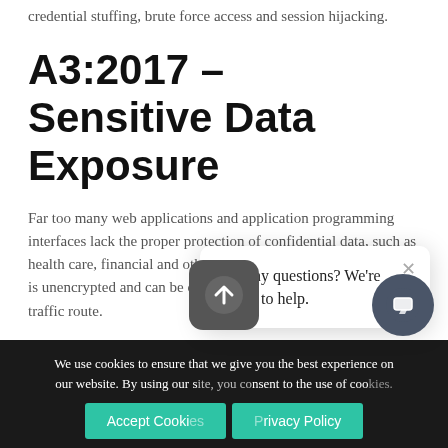credential stuffing, brute force access and session hijacking.
A3:2017 – Sensitive Data Exposure
Far too many web applications and application programming interfaces lack the proper protection of confidential data, such as health care, financial and other information. The HTTP protocol is unencrypted and can be compromised at any node along the traffic route.
A4:2017 – XML External Entities (XXE)
Got any questions? We're happy to help.
We use cookies to ensure that we give you the best experience on our website. By using our site, you consent to the use of cookies.
Accept Cookies   Privacy Policy